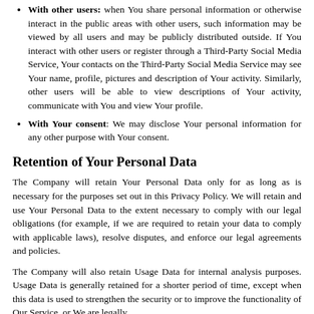With other users: when You share personal information or otherwise interact in the public areas with other users, such information may be viewed by all users and may be publicly distributed outside. If You interact with other users or register through a Third-Party Social Media Service, Your contacts on the Third-Party Social Media Service may see Your name, profile, pictures and description of Your activity. Similarly, other users will be able to view descriptions of Your activity, communicate with You and view Your profile.
With Your consent: We may disclose Your personal information for any other purpose with Your consent.
Retention of Your Personal Data
The Company will retain Your Personal Data only for as long as is necessary for the purposes set out in this Privacy Policy. We will retain and use Your Personal Data to the extent necessary to comply with our legal obligations (for example, if we are required to retain your data to comply with applicable laws), resolve disputes, and enforce our legal agreements and policies.
The Company will also retain Usage Data for internal analysis purposes. Usage Data is generally retained for a shorter period of time, except when this data is used to strengthen the security or to improve the functionality of Our Service, or We are legally